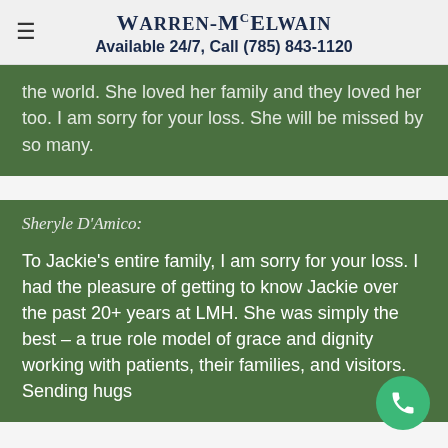WARREN-McELWAIN
Available 24/7, Call (785) 843-1120
the world. She loved her family and they loved her too. I am sorry for your loss. She will be missed by so many.
Sheryle D'Amico:
To Jackie's entire family, I am sorry for your loss. I had the pleasure of getting to know Jackie over the past 20+ years at LMH. She was simply the best – a true role model of grace and dignity working with patients, their families, and visitors. Sending hugs